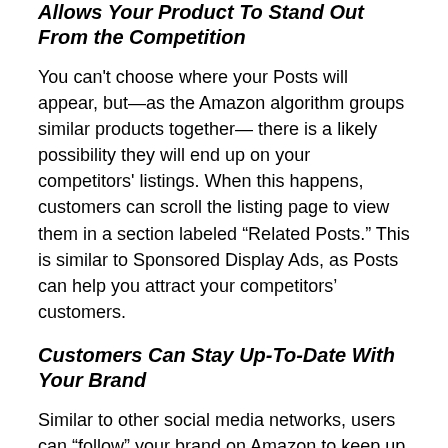Allows Your Product To Stand Out From the Competition
You can't choose where your Posts will appear, but—as the Amazon algorithm groups similar products together— there is a likely possibility they will end up on your competitors' listings. When this happens, customers can scroll the listing page to view them in a section labeled “Related Posts.” This is similar to Sponsored Display Ads, as Posts can help you attract your competitors’ customers.
Customers Can Stay Up-To-Date With Your Brand
Similar to other social media networks, users can “follow” your brand on Amazon to keep up with your content.